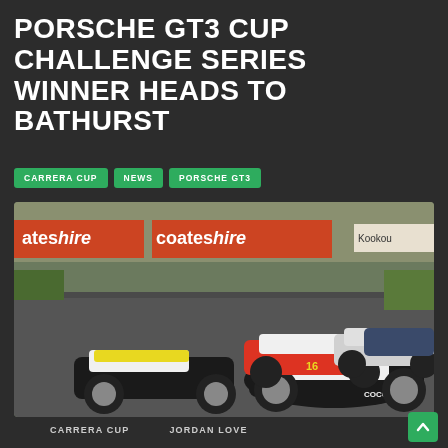PORSCHE GT3 CUP CHALLENGE SERIES WINNER HEADS TO BATHURST
CARRERA CUP
NEWS
PORSCHE GT3
[Figure (photo): Porsche GT3 Cup Challenge race cars on track, leading car is black/yellow with Cocos livery, other cars including red and white behind, Coateshire advertising boards visible in background]
CARRERA CUP   JORDAN LOVE
PORSCHE GT3 CUP CHALLENGE